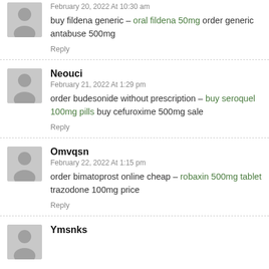February 20, 2022 At 10:30 am
buy fildena generic – oral fildena 50mg order generic antabuse 500mg
Reply
Neouci
February 21, 2022 At 1:29 pm
order budesonide without prescription – buy seroquel 100mg pills buy cefuroxime 500mg sale
Reply
Omvqsn
February 22, 2022 At 1:15 pm
order bimatoprost online cheap – robaxin 500mg tablet trazodone 100mg price
Reply
Ymsnks